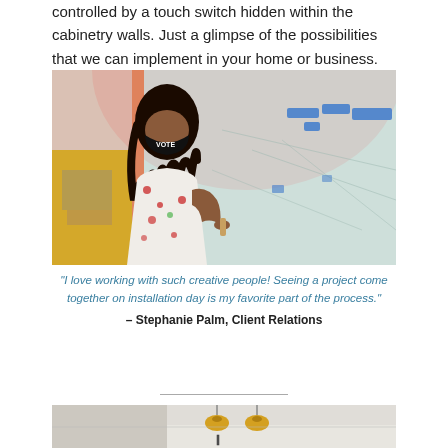controlled by a touch switch hidden within the cabinetry walls. Just a glimpse of the possibilities that we can implement in your home or business.
[Figure (photo): A woman wearing a floral dress and a black face mask with 'VOTE' text, painting or applying something to a large light-colored wall with blue painter's tape marks. The background has colorful painted sections in pink, yellow, and light blue/teal.]
“I love working with such creative people! Seeing a project come together on installation day is my favorite part of the process.” – Stephanie Palm, Client Relations
[Figure (photo): Bottom partial photo showing a ceiling with pendant lights in a room interior.]